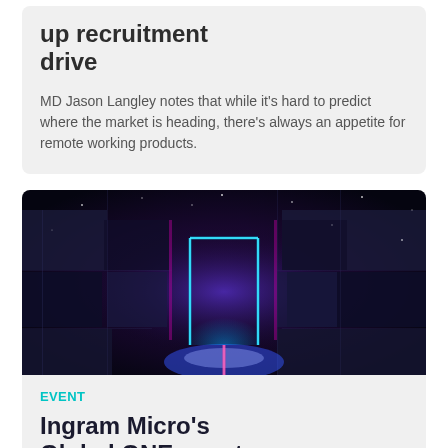up recruitment drive
MD Jason Langley notes that while it's hard to predict where the market is heading, there's always an appetite for remote working products.
[Figure (photo): Dark atmospheric corridor with glowing neon blue/pink rectangular doorway at the end, surrounded by abstract cube-like structures with stars or particles in the background]
EVENT
Ingram Micro's Global ONE event goes online